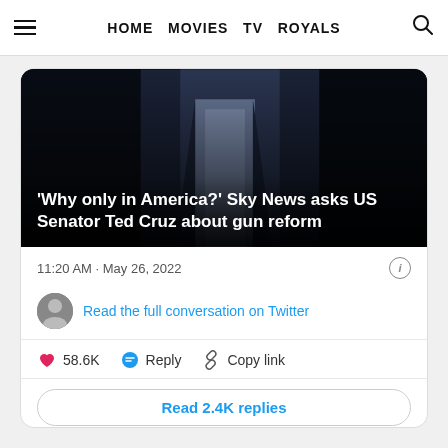HOME  MOVIES  TV  ROYALS
[Figure (screenshot): Dark video thumbnail showing a man in a suit with white text overlay: ''Why only in America?' Sky News asks US Senator Ted Cruz about gun reform']
11:20 AM · May 26, 2022
Read the full conversation on Twitter
58.6K   Reply   Copy link
Read 2.4K replies